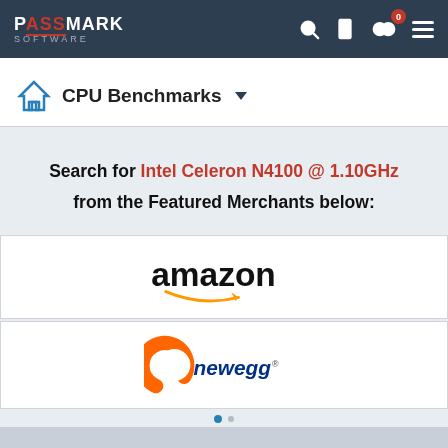PassMark Software — CPU Benchmarks navigation bar with search, phone, compare (0), and menu icons
CPU Benchmarks
Search for Intel Celeron N4100 @ 1.10GHz from the Featured Merchants below:
[Figure (logo): Amazon logo with orange smile arrow]
[Figure (logo): Newegg logo with orange C swirl and blue text]